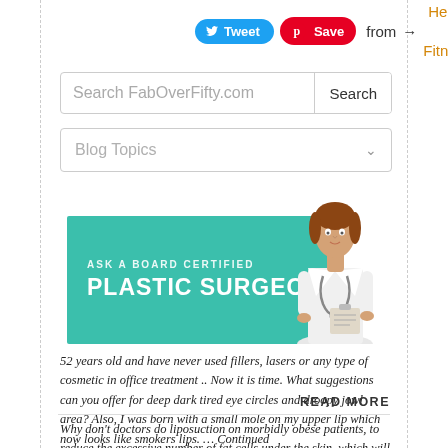Tweet  Save  from → Health & Fitness
[Figure (screenshot): Search bar with placeholder text 'Search FabOverFifty.com' and a Search button]
[Figure (screenshot): Blog Topics dropdown selector]
[Figure (illustration): Teal banner reading 'ASK A BOARD CERTIFIED PLASTIC SURGEON' with a female doctor in white coat]
52 years old and have never used fillers, lasers or any type of cosmetic in office treatment .. Now it is time. What suggestions can you offer for deep dark tired eye circles and droopy jowl area? Also, I was born with a small mole on my upper lip which now looks like smokers lips. … Continued
READ MORE
Why don't doctors do liposuction on morbidly obese patients, to reduce the excessive number of fat cells under the skin, which will remain,